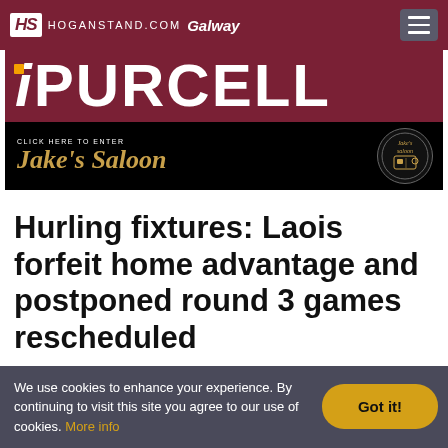HS HOGANSTAND.COM Galway
[Figure (logo): Purcell advertisement banner with large white text on maroon background]
[Figure (logo): Jake's Saloon advertisement banner on black background with gold stylized text]
Hurling fixtures: Laois forfeit home advantage and postponed round 3 games rescheduled
We use cookies to enhance your experience. By continuing to visit this site you agree to our use of cookies. More info